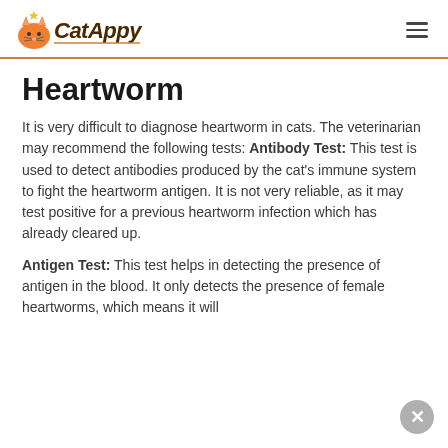CatAppy
Heartworm
It is very difficult to diagnose heartworm in cats. The veterinarian may recommend the following tests: Antibody Test: This test is used to detect antibodies produced by the cat's immune system to fight the heartworm antigen. It is not very reliable, as it may test positive for a previous heartworm infection which has already cleared up.
Antigen Test: This test helps in detecting the presence of antigen in the blood. It only detects the presence of female heartworms, which means it will only be positive if the cat is infected by male...